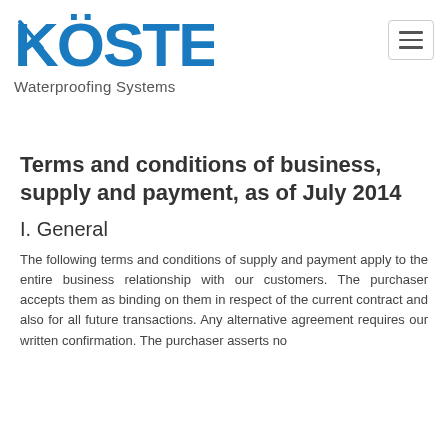[Figure (logo): Köster Waterproofing Systems logo — blue stylized KÖSTER text with a swoosh on the K, and 'Waterproofing Systems' subtitle in gray]
Terms and conditions of business, supply and payment, as of July 2014
I. General
The following terms and conditions of supply and payment apply to the entire business relationship with our customers. The purchaser accepts them as binding on them in respect of the current contract and also for all future transactions. Any alternative agreement requires our written confirmation. The purchaser asserts no